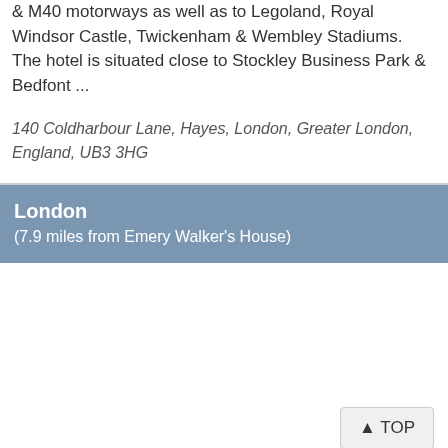& M40 motorways as well as to Legoland, Royal Windsor Castle, Twickenham & Wembley Stadiums. The hotel is situated close to Stockley Business Park & Bedfont ...
140 Coldharbour Lane, Hayes, London, Greater London, England, UB3 3HG
London
(7.9 miles from Emery Walker's House)